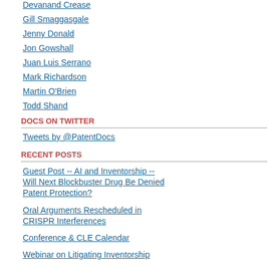Devanand Crease
Gill Smaggasgale
Jenny Donald
Jon Gowshall
Juan Luis Serrano
Mark Richardson
Martin O'Brien
Todd Shand
DOCS ON TWITTER
Tweets by @PatentDocs
RECENT POSTS
Guest Post -- AI and Inventorship -- Will Next Blockbuster Drug Be Denied Patent Protection?
Oral Arguments Rescheduled in CRISPR Interferences
Conference & CLE Calendar
Webinar on Litigating Inventorship
Plaintiffs: Valeant Pharmaceuticals North America LLC
Defendants: Actavis Laboratories
Infringement of U.S. Patent No. 6,670,33 (issued December 30, 2003) following a R Actavis' filing of an ANDA to manufacture (fluorouracil 0.5% cream, used to treat m face and anterior scalp). View the comp
Shionogi Inc. et al. v. Actavis Laborato 1:16-cv-00606; filed July 14, 2016 in the
Plaintiffs: Shionogi Inc.; Concordi
Defendant: Actavis Laboratories
Infringement of U.S. Patent Nos. 6,793,9 Compositions and Methods for their App and 7,294,342 (same title, issued Novem certification as part of Actavis' filing of an of Shionogi's Ulesfia® (benzyl alcohol lo lice infestation in patients 6 months of ag
Actavis Elizabeth LLC v. Novartis Corp